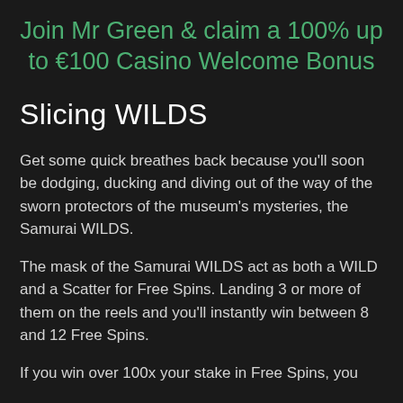Join Mr Green & claim a 100% up to €100 Casino Welcome Bonus
Slicing WILDS
Get some quick breathes back because you'll soon be dodging, ducking and diving out of the way of the sworn protectors of the museum's mysteries, the Samurai WILDS.
The mask of the Samurai WILDS act as both a WILD and a Scatter for Free Spins. Landing 3 or more of them on the reels and you'll instantly win between 8 and 12 Free Spins.
If you win over 100x your stake in Free Spins, you